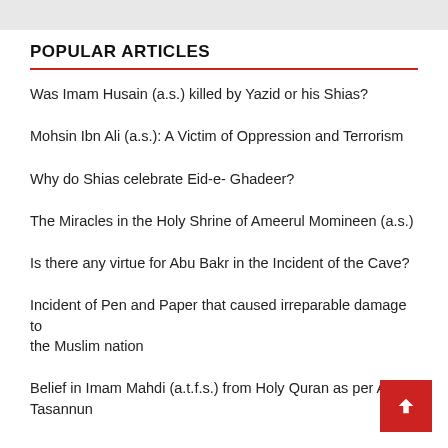POPULAR ARTICLES
Was Imam Husain (a.s.) killed by Yazid or his Shias?
Mohsin Ibn Ali (a.s.): A Victim of Oppression and Terrorism
Why do Shias celebrate Eid-e- Ghadeer?
The Miracles in the Holy Shrine of Ameerul Momineen (a.s.)
Is there any virtue for Abu Bakr in the Incident of the Cave?
Incident of Pen and Paper that caused irreparable damage to the Muslim nation
Belief in Imam Mahdi (a.t.f.s.) from Holy Quran as per Ah Tasannun